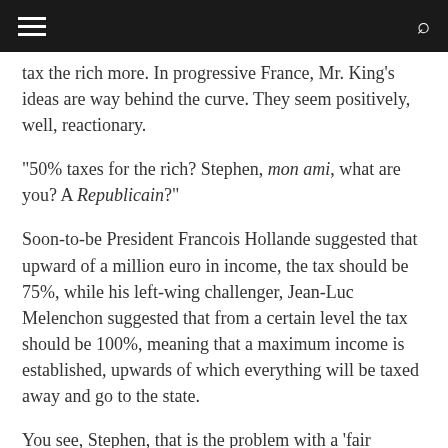Navigation bar with hamburger menu and search icon
tax the rich more. In progressive France, Mr. King's ideas are way behind the curve. They seem positively, well, reactionary.
"50% taxes for the rich? Stephen, mon ami, what are you? A Republicain?"
Soon-to-be President Francois Hollande suggested that upward of a million euro in income, the tax should be 75%, while his left-wing challenger, Jean-Luc Melenchon suggested that from a certain level the tax should be 100%, meaning that a maximum income is established, upwards of which everything will be taxed away and go to the state.
You see, Stephen, that is the problem with a 'fair